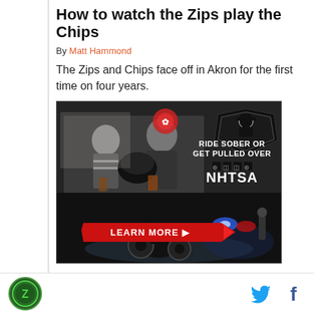How to watch the Zips play the Chips
By Matt Hammond
The Zips and Chips face off in Akron for the first time on four years.
[Figure (photo): NHTSA advertisement: 'Ride Sober or Get Pulled Over' showing motorcyclists at a bar and a motorcyclist being pulled over by police, with a 'Learn More' button.]
[Figure (logo): Site logo — circular green emblem at bottom left]
[Figure (other): Twitter bird icon and Facebook f icon for social sharing]